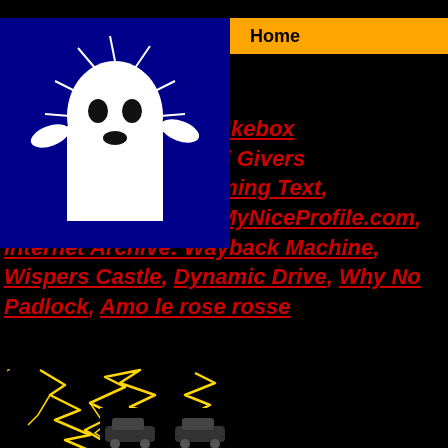Home
ic Downloads , Award Givers a Augusto Index, Flaming Text, Youtube, Wikipedia, MyNiceProfile.com, Internet Archive: Wayback Machine, Wispers Castle, Dynamic Drive, Why No Padlock, Amo le rose rosse
~
[Figure (illustration): Yellow lightning bolt illustration on black background]
[Figure (illustration): Pixel ghost illustration on dark blue background]
[Figure (illustration): Small car/vehicle icons at bottom of page]